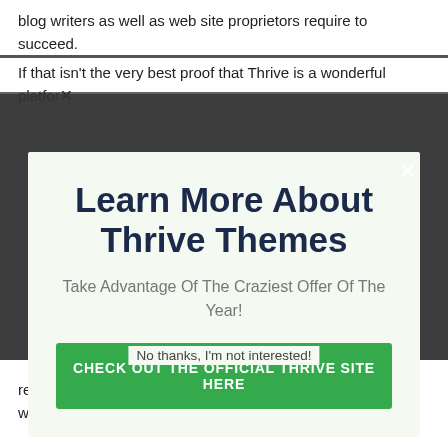blog writers as well as web site proprietors require to succeed.
If that isn’t the very best proof that Thrive is a wonderful platfor…
[Figure (screenshot): Modal popup overlay with close button (x), title 'Learn More About Thrive Themes', subtitle 'Take Advantage Of The Craziest Offer Of The Year!', and green call-to-action button 'CHECK OUT THE OFFICIAL THRIVE SITE HERE']
No thanks, I’m not interested!
require to drive co…ly, revenue for their blog site or web site.